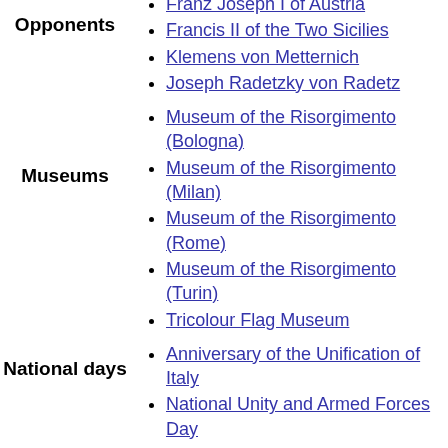Franz Joseph I of Austria
Francis II of the Two Sicilies
Klemens von Metternich
Joseph Radetzky von Radetz
Museum of the Risorgimento (Bologna)
Museum of the Risorgimento (Milan)
Museum of the Risorgimento (Rome)
Museum of the Risorgimento (Turin)
Tricolour Flag Museum
Anniversary of the Unification of Italy
National Unity and Armed Forces Day